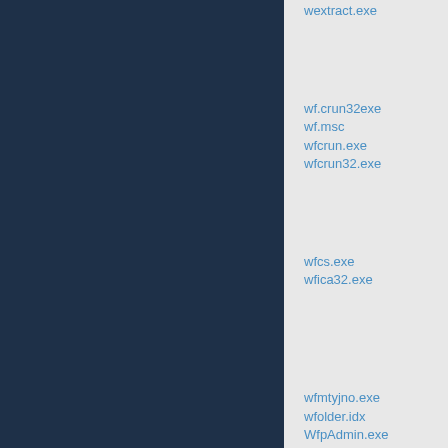wextract.exe
wf.crun32exe
wf.msc
wfcrun.exe
wfcrun32.exe
wfcs.exe
wfica32.exe
wfmtyjno.exe
wfolder.idx
WfpAdmin.exe
wfpdiag.etl
wfqfwqf.scr